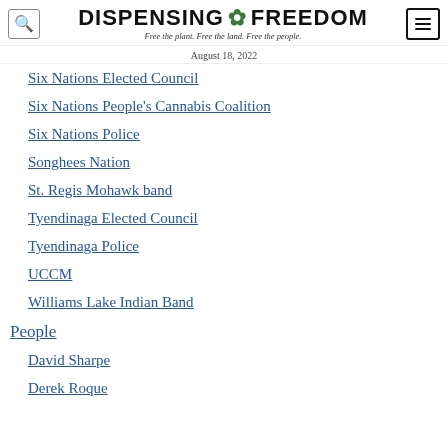DISPENSING FREEDOM — Free the plant. Free the land. Free the people.
August 18, 2022
Six Nations Elected Council
Six Nations People's Cannabis Coalition
Six Nations Police
Songhees Nation
St. Regis Mohawk band
Tyendinaga Elected Council
Tyendinaga Police
UCCM
Williams Lake Indian Band
People
David Sharpe
Derek Roque